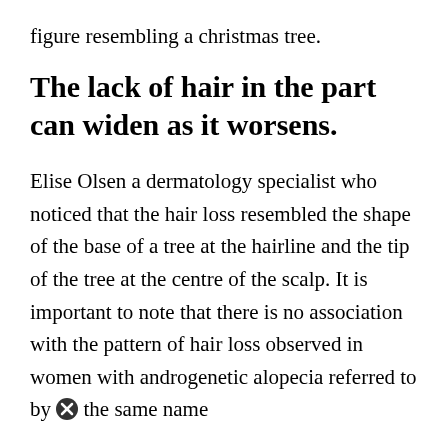figure resembling a christmas tree.
The lack of hair in the part can widen as it worsens.
Elise Olsen a dermatology specialist who noticed that the hair loss resembled the shape of the base of a tree at the hairline and the tip of the tree at the centre of the scalp. It is important to note that there is no association with the pattern of hair loss observed in women with androgenetic alopecia referred to by the same name